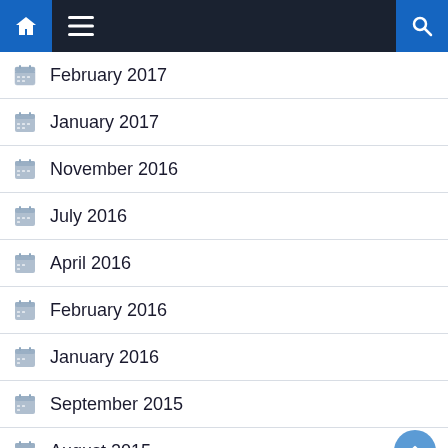Navigation bar with home, menu, and search icons
February 2017
January 2017
November 2016
July 2016
April 2016
February 2016
January 2016
September 2015
August 2015
July 2015